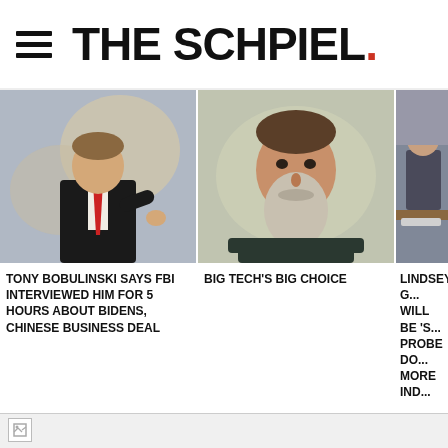THE SCHPIEL.
[Figure (photo): Man in black suit and red tie gesturing with hand, standing in front of abstract background]
TONY BOBULINSKI SAYS FBI INTERVIEWED HIM FOR 5 HOURS ABOUT BIDENS, CHINESE BUSINESS DEAL
[Figure (photo): Man with long beard on a video call or screen, neutral expression]
BIG TECH'S BIG CHOICE
[Figure (photo): Person at a hearing or committee table, partially visible, cropped on right side]
LINDSEY G... WILL BE 'S... PROBE DO... MORE IND...
[Figure (photo): Broken image placeholder with grey background below the article row]